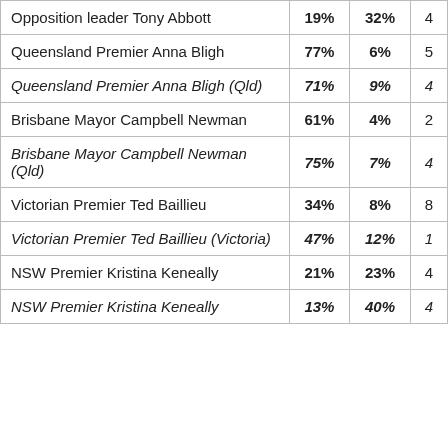| Opposition leader Tony Abbott | 19% | 32% | 4 |
| Queensland Premier Anna Bligh | 77% | 6% | 5 |
| Queensland Premier Anna Bligh (Qld) | 71% | 9% | 4 |
| Brisbane Mayor Campbell Newman | 61% | 4% | 2 |
| Brisbane Mayor Campbell Newman (Qld) | 75% | 7% | 4 |
| Victorian Premier Ted Baillieu | 34% | 8% | 8 |
| Victorian Premier Ted Baillieu (Victoria) | 47% | 12% | 1 |
| NSW Premier Kristina Keneally | 21% | 23% | 4 |
| NSW Premier Kristina Keneally | 13% | 40% | 4 |